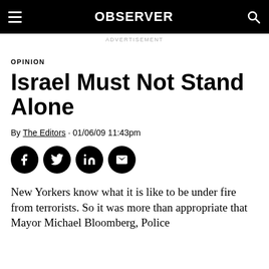OBSERVER
ADVERTISEMENT
OPINION
Israel Must Not Stand Alone
By The Editors · 01/06/09 11:43pm
[Figure (other): Social share icons: Facebook, Twitter, LinkedIn, Email]
New Yorkers know what it is like to be under fire from terrorists. So it was more than appropriate that Mayor Michael Bloomberg, Police